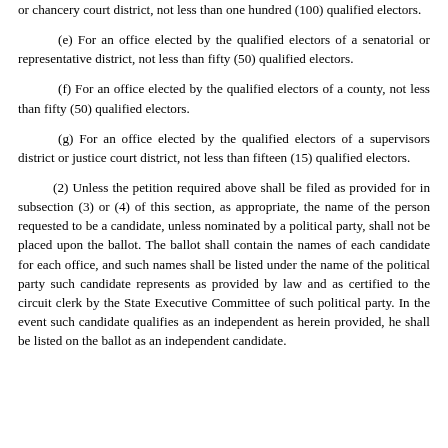or chancery court district, not less than one hundred (100) qualified electors.
(e)  For an office elected by the qualified electors of a senatorial or representative district, not less than fifty (50) qualified electors.
(f)  For an office elected by the qualified electors of a county, not less than fifty (50) qualified electors.
(g)  For an office elected by the qualified electors of a supervisors district or justice court district, not less than fifteen (15) qualified electors.
(2)  Unless the petition required above shall be filed as provided for in subsection (3) or (4) of this section, as appropriate, the name of the person requested to be a candidate, unless nominated by a political party, shall not be placed upon the ballot.  The ballot shall contain the names of each candidate for each office, and such names shall be listed under the name of the political party such candidate represents as provided by law and as certified to the circuit clerk by the State Executive Committee of such political party.  In the event such candidate qualifies as an independent as herein provided, he shall be listed on the ballot as an independent candidate.